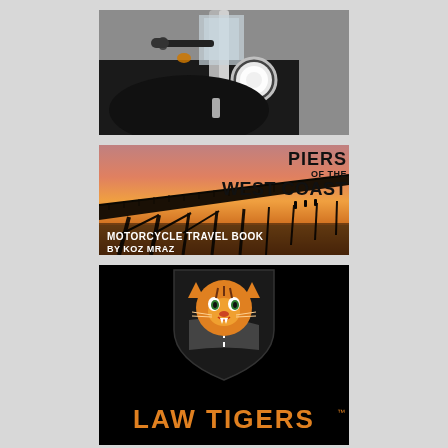[Figure (photo): Close-up photo of a black motorcycle front end with chrome fork, headlight, handlebars, windshield, and amber turn signal, against a gray background.]
[Figure (photo): Book cover image of 'Piers of the West Coast - Motorcycle Travel Book by Koz Mraz'. Shows a pier silhouette at sunset with orange and pink sky. Text overlaid: 'PIERS OF THE WEST COAST' in large bold black font, and 'MOTORCYCLE TRAVEL BOOK BY KOZ MRAZ' in white text at bottom left.]
[Figure (logo): Law Tigers logo on black background featuring a roaring tiger mascot inside a black shield, with 'LAW TIGERS' text in large bold orange letters below.]